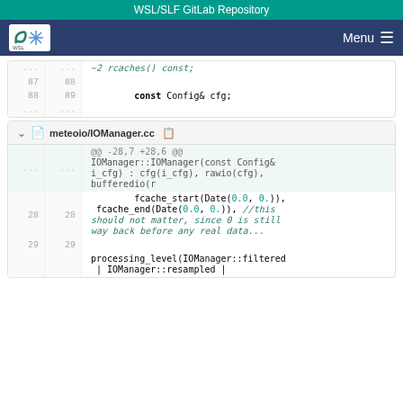WSL/SLF GitLab Repository
[Figure (logo): WSL/SLF logo with snowflake icon on white background, in dark blue navigation bar with Menu hamburger icon on the right]
~2 rcaches() const;
87  88
88  89    const Config& cfg;
...  ...
meteoio/IOManager.cc
@@ -28,7 +28,6 @@
IOManager::IOManager(const Config& i_cfg) : cfg(i_cfg), rawio(cfg), bufferedio(r
28  28    fcache_start(Date(0.0, 0.)), fcache_end(Date(0.0, 0.)), //this should not matter, since 0 is still way back before any real data...
29  29    processing_level(IOManager::filtered | IOManager::resampled |